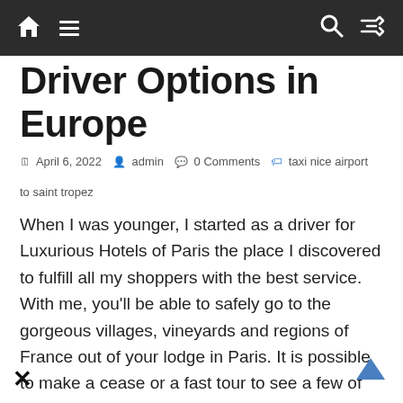Navigation bar with home, menu, search, and shuffle icons
Driver Options in Europe
April 6, 2022   admin   0 Comments   taxi nice airport to saint tropez
When I was younger, I started as a driver for Luxurious Hotels of Paris the place I discovered to fulfill all my shoppers with the best service. With me, you'll be able to safely go to the gorgeous villages, vineyards and regions of France out of your lodge in Paris. It is possible to make a cease or a fast tour to see a few of the highlights of the city on the way. You can sit and relax in my roomy car whereas I drive you safely to Paris to your hotel corridor. You also can look for a license plate with the license number hooked up to the best front of the car or nside the left rear door or the driving force's